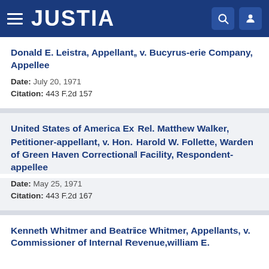JUSTIA
Donald E. Leistra, Appellant, v. Bucyrus-erie Company, Appellee
Date: July 20, 1971
Citation: 443 F.2d 157
United States of America Ex Rel. Matthew Walker, Petitioner-appellant, v. Hon. Harold W. Follette, Warden of Green Haven Correctional Facility, Respondent-appellee
Date: May 25, 1971
Citation: 443 F.2d 167
Kenneth Whitmer and Beatrice Whitmer, Appellants, v. Commissioner of Internal Revenue,william E.